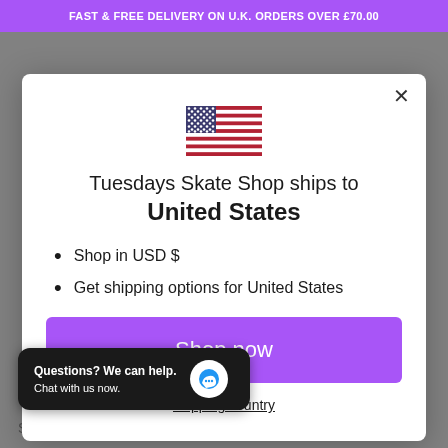FAST & FREE DELIVERY ON U.K. ORDERS OVER £70.00
[Figure (illustration): US flag emoji used as modal icon]
Tuesdays Skate Shop ships to United States
Shop in USD $
Get shipping options for United States
Shop now
shipping country
Questions? We can help. Chat with us now.
Skateboard Completes